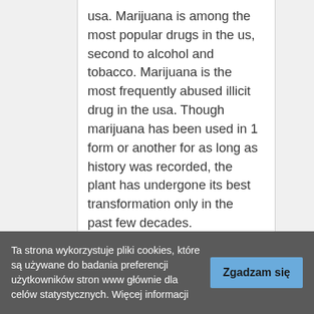usa. Marijuana is among the most popular drugs in the us, second to alcohol and tobacco. Marijuana is the most frequently abused illicit drug in the usa. Though marijuana has been used in 1 form or another for as long as history was recorded, the plant has undergone its best transformation only in the past few decades.

Should you do, it's more than likely caused by something apart from alcohol. Alcohol has been
Ta strona wykorzystuje pliki cookies, które są używane do badania preferencji użytkowników stron www głównie dla celów statystycznych. Więcej informacji